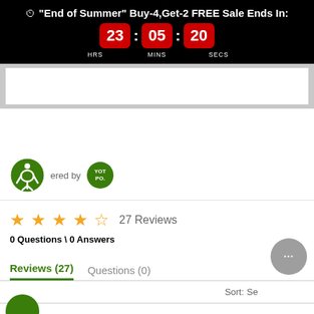"End of Summer" Buy-4,Get-2 FREE Sale Ends In: 23 HRS : 05 MINS : 20 SECS
[Figure (screenshot): White content box in gray background area]
[Figure (logo): Accessibility badge (wheelchair icon in green circle) and Yotpo logo badge, with 'ered by' text]
27 Reviews
0 Questions \ 0 Answers
Reviews (27)   Questions (0)
Sort: Se...